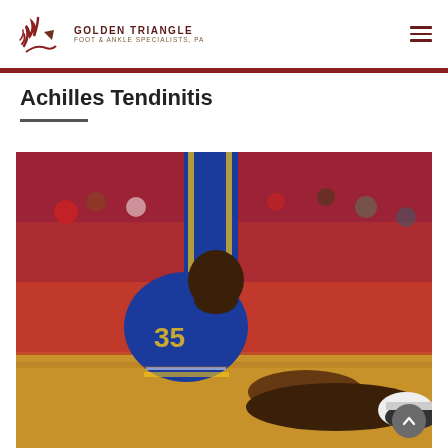[Figure (logo): Golden Triangle Foot & Ankle Specialists, PA logo with stylized foot/arrow graphic in dark red/brown tones]
Achilles Tendinitis
[Figure (photo): Basketball player wearing Golden State Warriors #35 jersey sitting on the court floor clutching his leg/ankle, surrounded by crowd in red in the background — depicting an Achilles tendon injury]